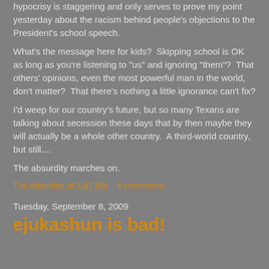hypocrisy is staggering and only serves to prove my point yesterday about the racism behind people's objections to the President's school speech.
What's the message here for kids?  Skipping school is OK as long as you're listening to "us" and ignoring "them"?  That others' opinions, even the most powerful man in the world, don't matter?  That there's nothing a little ignorance can't fix?
I'd weep for our country's future, but so many Texans are talking about secession these days that by then maybe they will actually be a whole other country.  A third-world country, but still....
The absurdity marches on.
The Absurdist at 5:47 PM    4 comments:
Tuesday, September 8, 2009
ejukashun is bad!